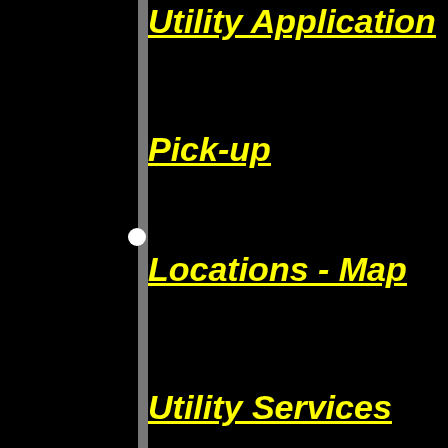Utility Application
Pick-up
Locations - Map
Utility Services
Materials
Senior Services